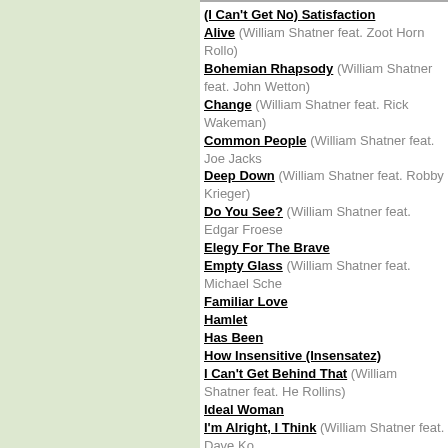(I Can't Get No) Satisfaction
Alive (William Shatner feat. Zoot Horn Rollo)
Bohemian Rhapsody (William Shatner feat. John Wetton)
Change (William Shatner feat. Rick Wakeman)
Common People (William Shatner feat. Joe Jacks)
Deep Down (William Shatner feat. Robby Krieger)
Do You See? (William Shatner feat. Edgar Froese)
Elegy For The Brave
Empty Glass (William Shatner feat. Michael Sche...)
Familiar Love
Hamlet
Has Been
How Insensitive (Insensatez)
I Can't Get Behind That (William Shatner feat. Henry Rollins)
Ideal Woman
I'm Alright, I Think (William Shatner feat. Dave Ko...)
Imagine Things (William Shatner feat. Vince Gill)
In A Little While (William Shatner feat. Lyle Lovett)
Iron Man (William Shatner feat. Zakk Wylde & Mik Inez)
It Hasn't Happened Yet
It Was A Very Good Year
Jingle Bells
King Henry The Fifth
Learning To Fly (William Shatner feat. Edgar Froe...)
Lost In The Stars (William Shatner feat. Earnie W...)
Lucy In The Sky With Diamonds
Major Tom (Coming Home) (William Shatner feat. Valensi)
Manhunt (William Shatner feat. Simon House)
Mr. Spaceman (William Shatner feat. Dave Davies)
Mr. Tambourine Man